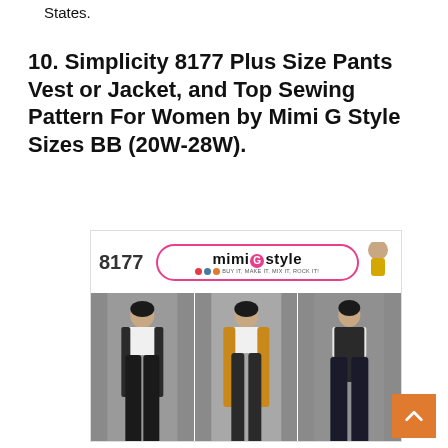States.
10. Simplicity 8177 Plus Size Pants Vest or Jacket, and Top Sewing Pattern For Women by Mimi G Style Sizes BB (20W-28W).
[Figure (photo): Sewing pattern package for Simplicity 8177 showing three views of a woman wearing wide-leg pants with a long vest/jacket and top. Pattern number 8177 with Mimi G Style logo.]